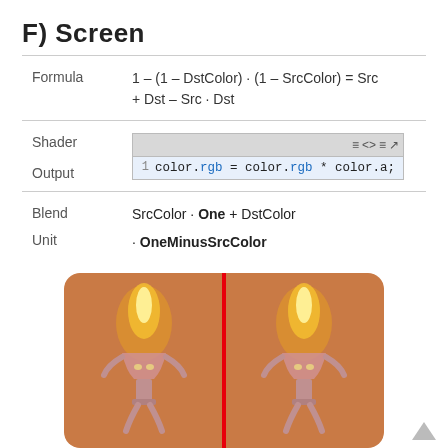F) Screen
Shader Output  color.rgb = color.rgb * color.a;
Blend Unit  SrcColor · One + DstColor · OneMinusSrcColor
[Figure (illustration): Two side-by-side torch flame illustrations on an orange background, separated by a red vertical line. Shows the Screen blend mode result.]